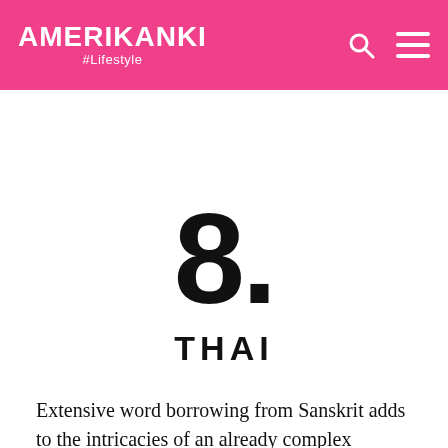AMERIKANKI #Lifestyle
8.
THAI
Extensive word borrowing from Sanskrit adds to the intricacies of an already complex language. The